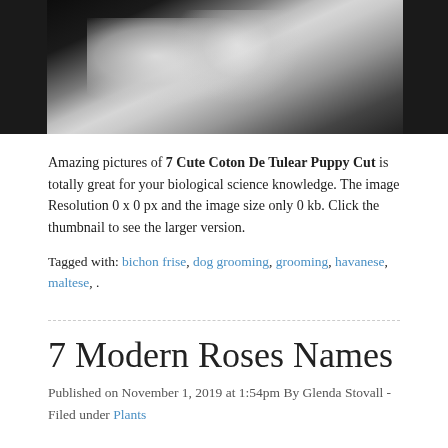[Figure (photo): Close-up photo of a white fluffy dog, showing its fur texture against a dark background. The dog appears to be a small breed with long, soft white fur.]
Amazing pictures of 7 Cute Coton De Tulear Puppy Cut is totally great for your biological science knowledge. The image Resolution 0 x 0 px and the image size only 0 kb. Click the thumbnail to see the larger version.
Tagged with: bichon frise, dog grooming, grooming, havanese, maltese, .
7 Modern Roses Names
Published on November 1, 2019 at 1:54pm By Glenda Stovall - Filed under Plants